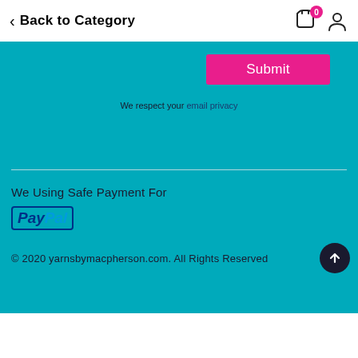Back to Category
Submit
We respect your email privacy
We Using Safe Payment For
[Figure (logo): PayPal logo with blue italic bold text in a border box]
© 2020 yarnsbymacpherson.com. All Rights Reserved